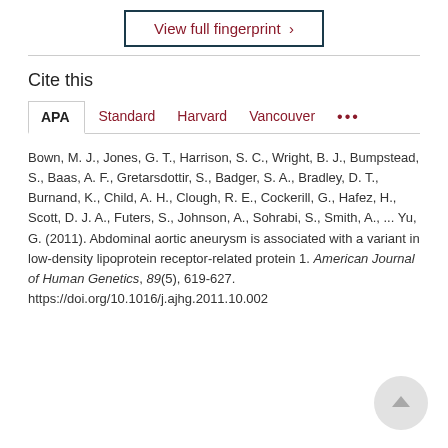View full fingerprint ›
Cite this
APA   Standard   Harvard   Vancouver   •••
Bown, M. J., Jones, G. T., Harrison, S. C., Wright, B. J., Bumpstead, S., Baas, A. F., Gretarsdottir, S., Badger, S. A., Bradley, D. T., Burnand, K., Child, A. H., Clough, R. E., Cockerill, G., Hafez, H., Scott, D. J. A., Futers, S., Johnson, A., Sohrabi, S., Smith, A., ... Yu, G. (2011). Abdominal aortic aneurysm is associated with a variant in low-density lipoprotein receptor-related protein 1. American Journal of Human Genetics, 89(5), 619-627. https://doi.org/10.1016/j.ajhg.2011.10.002